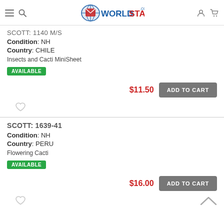WorldStamps.com
SCOTT: 1140 M/S
Condition: NH
Country: CHILE
Insects and Cacti MiniSheet
AVAILABLE
$11.50 ADD TO CART
SCOTT: 1639-41
Condition: NH
Country: PERU
Flowering Cacti
AVAILABLE
$16.00 ADD TO CART